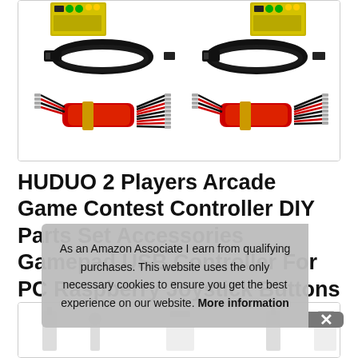[Figure (photo): Product photo showing arcade game controller DIY parts kit including circuit boards with colored buttons (green, yellow), USB cables in black, and wire harnesses with red/black wires bundled together — two sets shown side by side]
HUDUO 2 Players Arcade Game Contest Controller DIY Parts Set Accessories Gamepad USB Controller For PC Raspberry Joystick Buttons Kit
[Figure (photo): Partial product image showing components of arcade kit at the bottom of page]
As an Amazon Associate I earn from qualifying purchases. This website uses the only necessary cookies to ensure you get the best experience on our website. More information